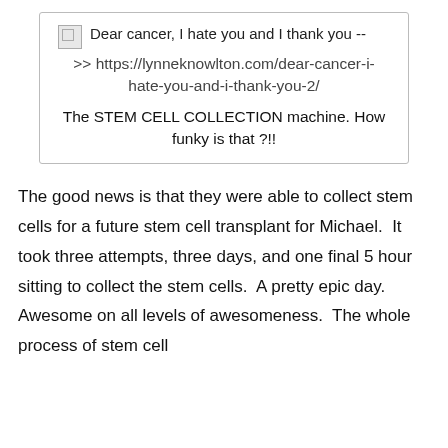[Figure (screenshot): A link preview box with a broken image icon, link title 'Dear cancer, I hate you and I thank you --', URL 'https://lynneknowlton.com/dear-cancer-i-hate-you-and-i-thank-you-2/', and description 'The STEM CELL COLLECTION machine. How funky is that ?!!']
The good news is that they were able to collect stem cells for a future stem cell transplant for Michael.  It took three attempts, three days, and one final 5 hour sitting to collect the stem cells.  A pretty epic day.  Awesome on all levels of awesomeness.  The whole process of stem cell